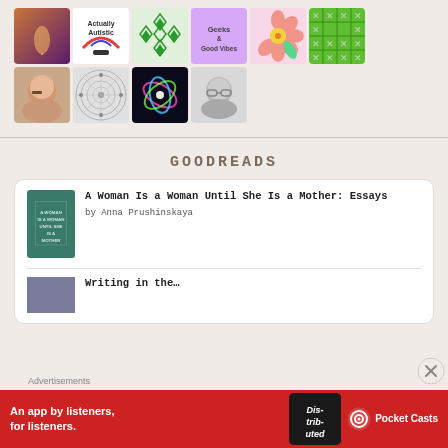[Figure (other): Grid of thumbnail images: row 1 has 6 thumbnails (fantasy art, Actually Autistic logo, diamond pattern, person with pink background, pink flower, green pattern); row 2 has 4 thumbnails (woman with glasses, mandala art, colorful light art, man with glasses)]
[Figure (logo): GOODREADS logo in uppercase serif/monospace tracking letters]
[Figure (other): Book card: 'A Woman Is a Woman Until She Is a Mother: Essays' by Anna Prushinskaya with teal book cover thumbnail]
A Woman Is a Woman Until She Is a Mother: Essays
by Anna Prushinskaya
[Figure (other): Second book entry partially visible]
Advertisements
[Figure (other): Pocket Casts advertisement banner: 'An app by listeners, for listeners.' with phone graphic and Pocket Casts logo on red background]